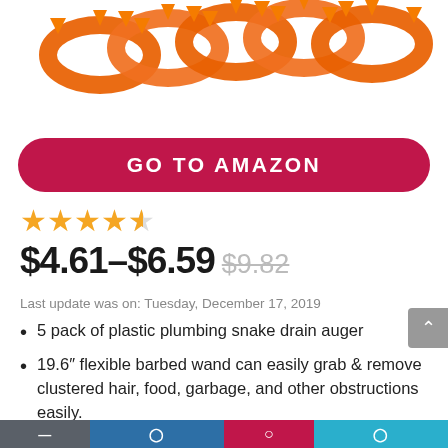[Figure (photo): Orange plastic plumbing snake drain auger coils shown from above on white background]
GO TO AMAZON
[Figure (other): 4.5 star rating shown as orange stars]
$4.61–$6.59 $9.82
Last update was on: Tuesday, December 17, 2019
5 pack of plastic plumbing snake drain auger
19.6″ flexible barbed wand can easily grab & remove clustered hair, food, garbage, and other obstructions easily.